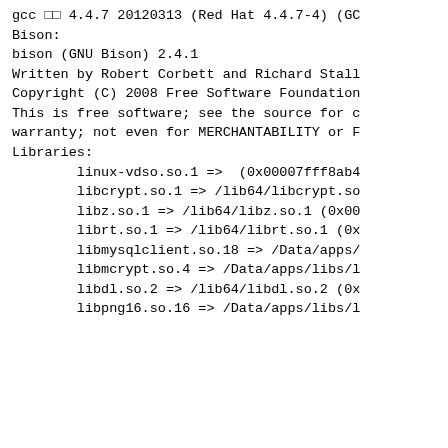gcc □□ 4.4.7 20120313 (Red Hat 4.4.7-4) (GC
Bison:
bison (GNU Bison) 2.4.1
Written by Robert Corbett and Richard Stall
Copyright (C) 2008 Free Software Foundation
This is free software; see the source for c
warranty; not even for MERCHANTABILITY or F
Libraries:
        linux-vdso.so.1 => (0x00007fff8ab4
        libcrypt.so.1 => /lib64/libcrypt.so
        libz.so.1 => /lib64/libz.so.1 (0x00
        librt.so.1 => /lib64/librt.so.1 (0x
        libmysqlclient.so.18 => /Data/apps/
        libmcrypt.so.4 => /Data/apps/libs/l
        libdl.so.2 => /lib64/libdl.so.2 (0x
        libpng16.so.16 => /Data/apps/libs/l